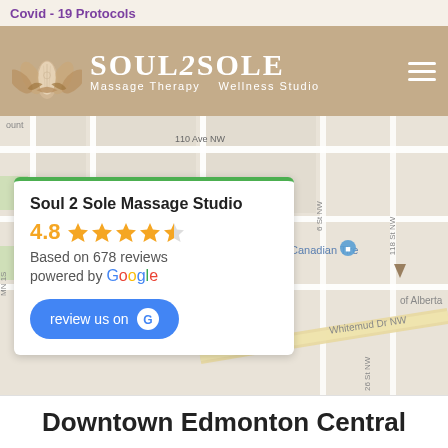Covid - 19 Protocols
[Figure (logo): Soul 2 Sole Massage Therapy Wellness Studio logo with lotus flower graphic and stylized text]
[Figure (map): Google Maps screenshot showing street map of Edmonton area including 110 Ave NW, 109A Ave, 116 Ave NW, 118 St NW, Whitemud Dr NW, Canadian Tire location, and areas labeled 'of Alberta' and 'Soul']
Soul 2 Sole Massage Studio
4.8 stars
Based on 678 reviews
powered by Google
review us on [Google]
Downtown Edmonton Central